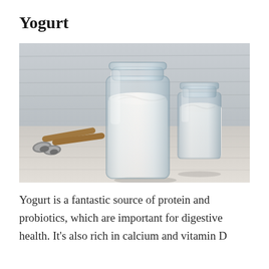Yogurt
[Figure (photo): Two glass jars filled with white yogurt on a white wooden plank surface. Two spoons with wooden handles lie on the left side of the jars.]
Yogurt is a fantastic source of protein and probiotics, which are important for digestive health. It's also rich in calcium and vitamin D